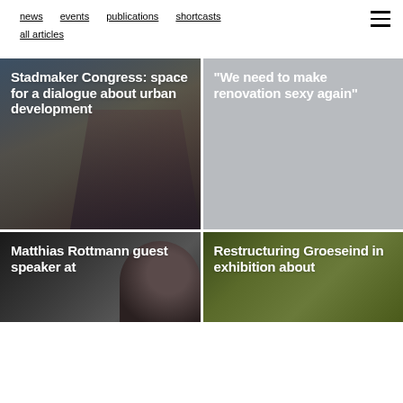news  events  publications  shortcasts  all articles
[Figure (photo): Urban street scene with road, buildings and city infrastructure, dark tones, dusk lighting. Overlay text: Stadmaker Congress: space for a dialogue about urban development]
[Figure (photo): Grey placeholder card with text: "We need to make renovation sexy again"]
[Figure (photo): Portrait photo partial view, dark tones. Overlay text: Matthias Rottmann guest speaker at]
[Figure (photo): Green foliage background. Overlay text: Restructuring Groeseind in exhibition about]